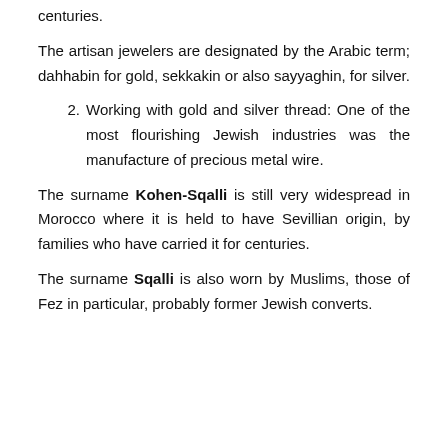centuries.
The artisan jewelers are designated by the Arabic term; dahhabin for gold, sekkakin or also sayyaghin, for silver.
2. Working with gold and silver thread: One of the most flourishing Jewish industries was the manufacture of precious metal wire.
The surname Kohen-Sqalli is still very widespread in Morocco where it is held to have Sevillian origin, by families who have carried it for centuries.
The surname Sqalli is also worn by Muslims, those of Fez in particular, probably former Jewish converts.